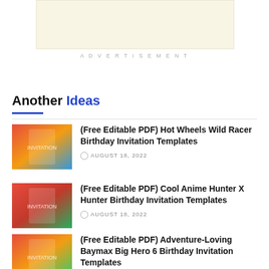[Figure (other): Advertisement banner placeholder with light beige background]
ADVERTISEMENT
Another Ideas
[Figure (photo): Child holding a Hot Wheels birthday invitation card]
(Free Editable PDF) Hot Wheels Wild Racer Birthday Invitation Templates
AUGUST 18, 2022
[Figure (photo): Cool Anime Hunter X Hunter birthday invitation card on pine branches]
(Free Editable PDF) Cool Anime Hunter X Hunter Birthday Invitation Templates
AUGUST 18, 2022
[Figure (photo): Adventure-Loving Baymax Big Hero 6 birthday invitation card]
(Free Editable PDF) Adventure-Loving Baymax Big Hero 6 Birthday Invitation Templates